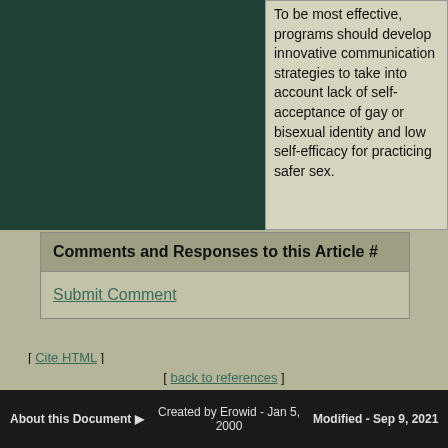[Figure (photo): Dark green image panel on the left side]
To be most effective, programs should develop innovative communication strategies to take into account lack of self-acceptance of gay or bisexual identity and low self-efficacy for practicing safer sex.
Comments and Responses to this Article #
Submit Comment
[ Cite HTML ]
[ back to references ]
About this Document ▶ | Created by Erowid - Jan 5, 2000 | Modified - Sep 9, 2021